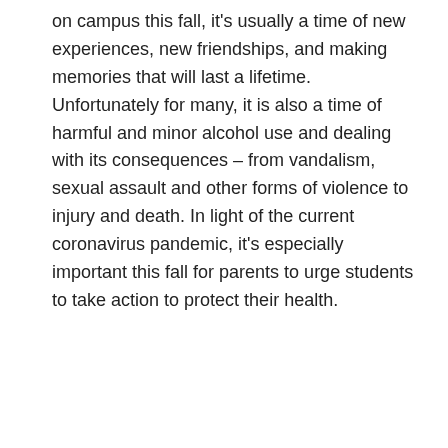on campus this fall, it's usually a time of new experiences, new friendships, and making memories that will last a lifetime. Unfortunately for many, it is also a time of harmful and minor alcohol use and dealing with its consequences – from vandalism, sexual assault and other forms of violence to injury and death. In light of the current coronavirus pandemic, it's especially important this fall for parents to urge students to take action to protect their health.